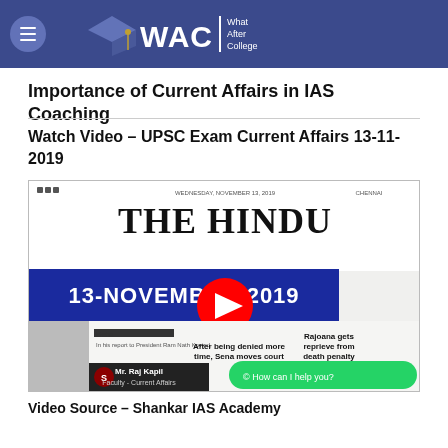WAC – What After College
Importance of Current Affairs in IAS Coaching
Watch Video – UPSC Exam Current Affairs 13-11-2019
[Figure (screenshot): YouTube video thumbnail showing The Hindu newspaper front page dated 13-November-2019 with overlay text '13-NOVEMBER-2019 ANALYSIS' and a YouTube play button. Also shows a WhatsApp chat bubble 'How can I help you?' and Mr. Raj Kapil Faculty – Current Affairs branding from Shankar IAS Academy.]
Video Source – Shankar IAS Academy